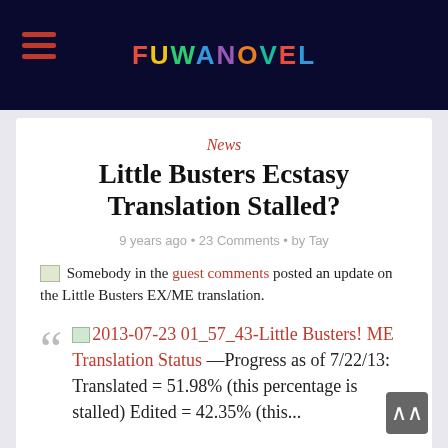FUWANOVEL
News
Little Busters Ecstasy Translation Stalled?
9 years ago • 23 Comments • by Tay
Somebody in the guest comments posted an update on the Little Busters EX/ME translation.
2013-07-23 01_57_43-Little Busters! ME Translation Status —Progress as of 7/22/13: Translated = 51.98% (this percentage is stalled) Edited = 42.35% (this...